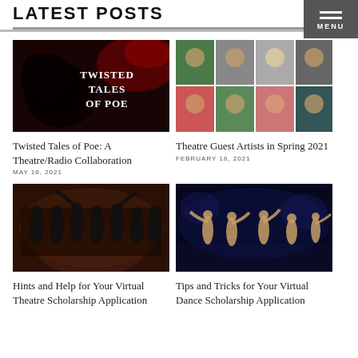LATEST POSTS
[Figure (photo): Dark atmospheric image with a raven and text 'TWISTED TALES OF POE' in white gothic font]
Twisted Tales of Poe: A Theatre/Radio Collaboration
MAY 16, 2021
[Figure (photo): Grid of 8 headshot photos of theatre guest artists]
Theatre Guest Artists in Spring 2021
FEBRUARY 16, 2021
[Figure (photo): Group of performers dressed in black on a stage]
Hints and Help for Your Virtual Theatre Scholarship Application
[Figure (photo): Dancers performing on a dark stage with blue lighting]
Tips and Tricks for Your Virtual Dance Scholarship Application